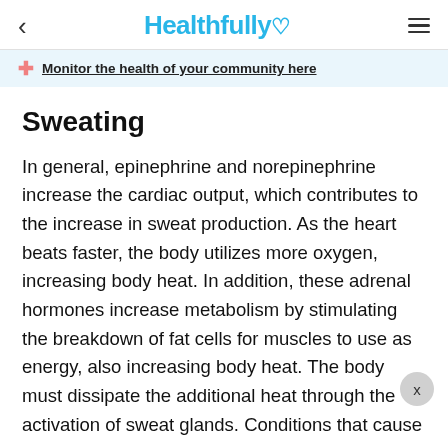< Healthfully ♡ ≡
Monitor the health of your community here
Sweating
In general, epinephrine and norepinephrine increase the cardiac output, which contributes to the increase in sweat production. As the heart beats faster, the body utilizes more oxygen, increasing body heat. In addition, these adrenal hormones increase metabolism by stimulating the breakdown of fat cells for muscles to use as energy, also increasing body heat. The body must dissipate the additional heat through the activation of sweat glands. Conditions that cause